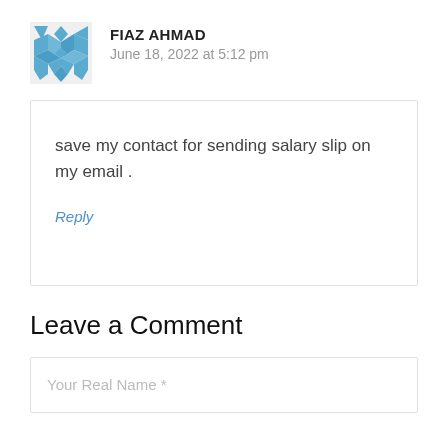FIAZ AHMAD
June 18, 2022 at 5:12 pm
save my contact for sending salary slip on my email .
Reply
Leave a Comment
Your Real Name *